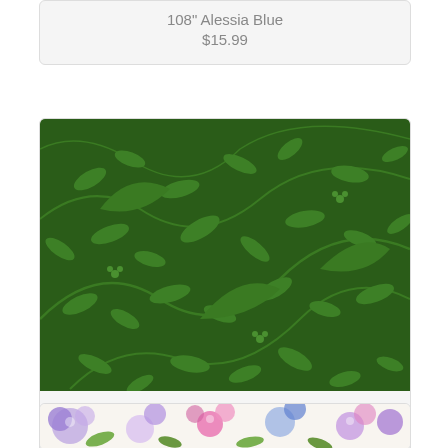108" Alessia Blue
$15.99
[Figure (photo): Green fabric with leaf pattern on dark green background]
108" Alessia Green
$15.99
[Figure (photo): Floral fabric with purple, pink, and blue flowers on white background]